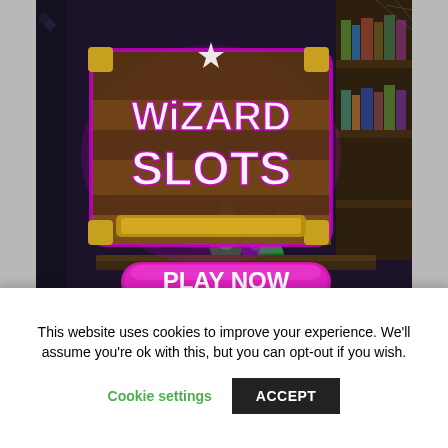[Figure (screenshot): Wizard Slots casino game advertisement showing a magical scroll with 'WIZARD SLOTS' text glowing in pink/purple, with a 'PLAY NOW' pink button, set against a dark wizard's laboratory background with bookshelves and potion bottles.]
Check out Pay by mobile slots.
This website uses cookies to improve your experience. We'll assume you're ok with this, but you can opt-out if you wish.
Cookie settings    ACCEPT